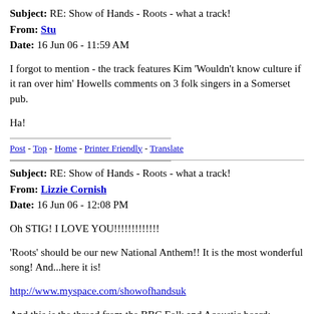Subject: RE: Show of Hands - Roots - what a track!
From: Stu
Date: 16 Jun 06 - 11:59 AM
I forgot to mention - the track features Kim 'Wouldn't know culture if it ran over him' Howells comments on 3 folk singers in a Somerset pub.
Ha!
Post - Top - Home - Printer Friendly - Translate
Subject: RE: Show of Hands - Roots - what a track!
From: Lizzie Cornish
Date: 16 Jun 06 - 12:08 PM
Oh STIG! I LOVE YOU!!!!!!!!!!!!
'Roots' should be our new National Anthem!! It is the most wonderful song! And...here it is!
http://www.myspace.com/showofhandsuk
And this is the thread from the BBC Folk and Acoustic board: